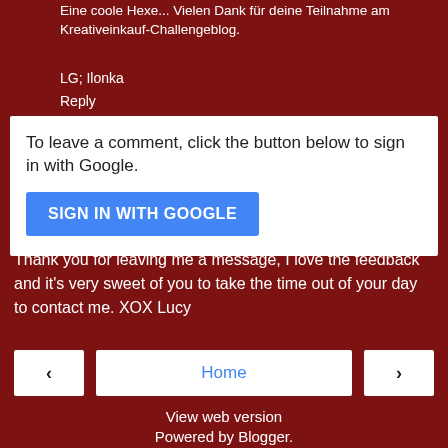Eine coole Hexe... Vielen Dank für deine Teilnahme am Kreativeinkauf-Challengeblog.
LG; Ilonka
Reply
To leave a comment, click the button below to sign in with Google.
SIGN IN WITH GOOGLE
Thank you for leaving me a message, I love the feedback and it's very sweet of you to take the time out of your day to contact me. XOX Lucy
‹
Home
›
View web version
Powered by Blogger.